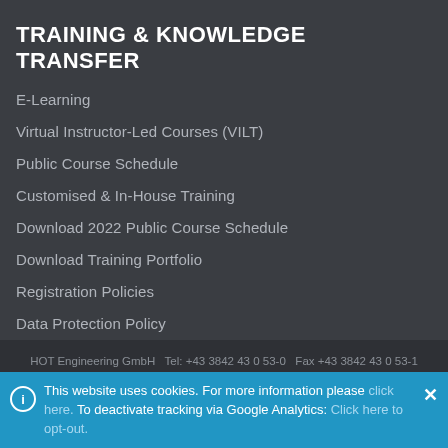TRAINING & KNOWLEDGE TRANSFER
E-Learning
Virtual Instructor-Led Courses (VILT)
Public Course Schedule
Customised & In-House Training
Download 2022 Public Course Schedule
Download Training Portfolio
Registration Policies
Data Protection Policy
HOT Engineering GmbH   Tel: +43 3842 43 0 53-0   Fax +43 3842 43 0 53-1   hot@hoteng.com
This website uses cookies. For more information please click here. To deactivate tracking via Google Analytics: Click here to opt-out.